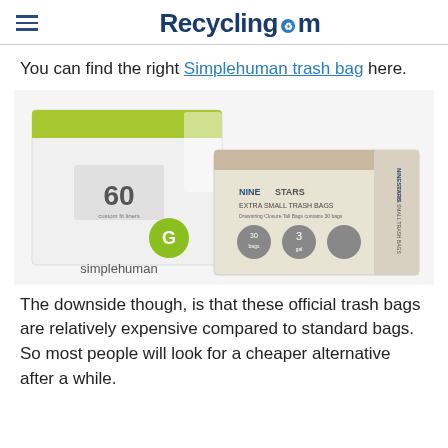Recycling.com
You can find the right Simplehuman trash bag here.
[Figure (photo): Product photo showing two boxes of trash bags: a simplehuman white box with '60' and 'G' label on the left, and a NINESTARS Extra Small Trash Bags beige box on the right.]
The downside though, is that these official trash bags are relatively expensive compared to standard bags. So most people will look for a cheaper alternative after a while.